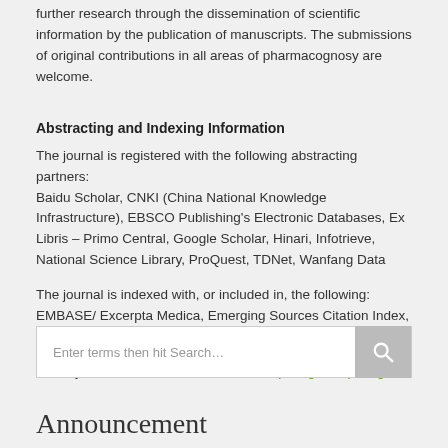further research through the dissemination of scientific information by the publication of manuscripts. The submissions of original contributions in all areas of pharmacognosy are welcome.
Abstracting and Indexing Information
The journal is registered with the following abstracting partners: Baidu Scholar, CNKI (China National Knowledge Infrastructure), EBSCO Publishing's Electronic Databases, Ex Libris – Primo Central, Google Scholar, Hinari, Infotrieve, National Science Library, ProQuest, TDNet, Wanfang Data
The journal is indexed with, or included in, the following: EMBASE/ Excerpta Medica, Emerging Sources Citation Index, Index Copernicus, Web of Science
For any other information, write to editor.phcogres@phcog.net
[Figure (other): Search box with placeholder text 'Enter terms then hit Search...' and a search button with magnifying glass icon]
Announcement